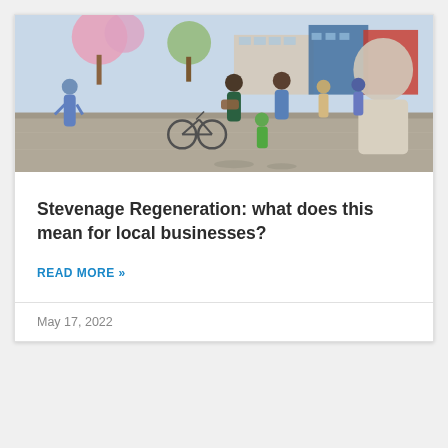[Figure (photo): Outdoor urban regeneration scene showing pedestrians, cyclists, a street musician playing guitar, a parent and child, and modern buildings in the background with trees and pink blossom.]
Stevenage Regeneration: what does this mean for local businesses?
READ MORE »
May 17, 2022